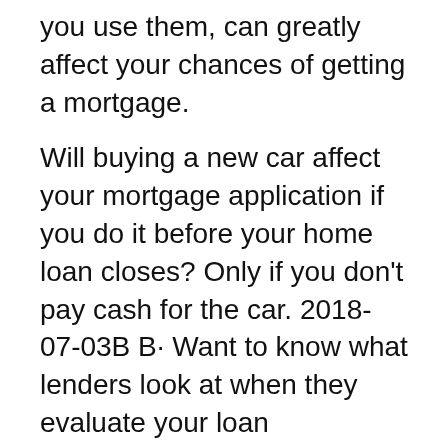you use them, can greatly affect your chances of getting a mortgage.
Will buying a new car affect your mortgage application if you do it before your home loan closes? Only if you don't pay cash for the car. 2018-07-03В В· Want to know what lenders look at when they evaluate your loan application? Itвђ™s a combination of things. Banks evaluate your attitude towards debt
Job Application Process How does my credit score affect my ability to get a mortgage loan? Your credit score is only one component of your mortgage lender s MoneyWise is the official one of